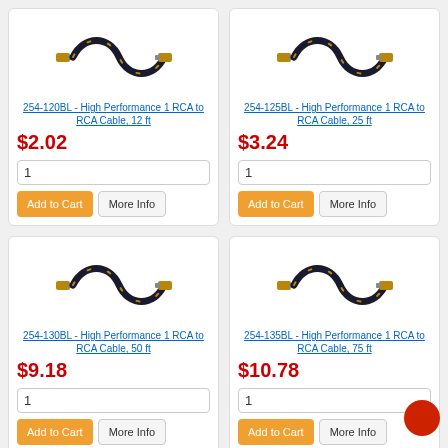[Figure (photo): RCA cable coiled, black with gold connectors - 254-120BL]
254-120BL - High Performance 1 RCA to RCA Cable, 12 ft
$2.02
[Figure (photo): RCA cable coiled, black with gold connectors - 254-125BL]
254-125BL - High Performance 1 RCA to RCA Cable, 25 ft
$3.24
[Figure (photo): RCA cable coiled, black with gold connectors - 254-130BL]
254-130BL - High Performance 1 RCA to RCA Cable, 50 ft
$9.18
[Figure (photo): RCA cable coiled, black with gold connectors - 254-135BL]
254-135BL - High Performance 1 RCA to RCA Cable, 75 ft
$10.78